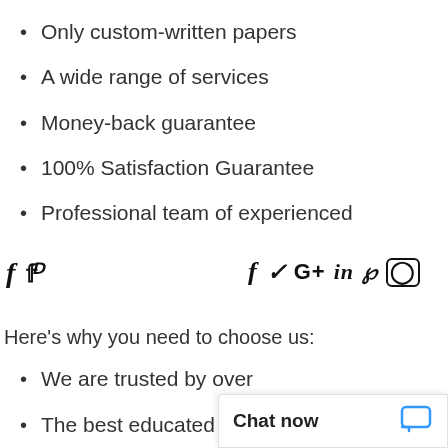Only custom-written papers
A wide range of services
Money-back guarantee
100% Satisfaction Guarantee
Professional team of experienced
[Figure (other): Social media icons: Facebook, Twitter, Google+, LinkedIn, Pinterest, Instagram]
Here's why you need to choose us:
We are trusted by over (truncated)
The best educated and (truncated)
Chat now